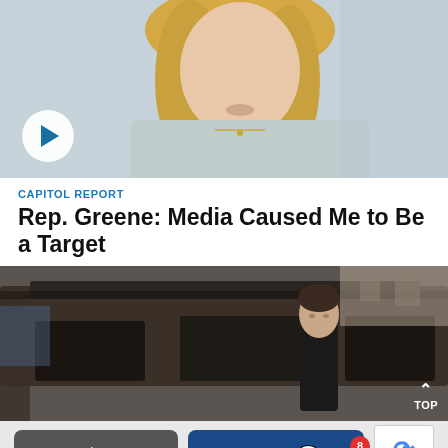[Figure (screenshot): Video thumbnail of a blonde woman speaking, with a circular play button overlay in the lower left]
CAPITOL REPORT
Rep. Greene: Media Caused Me to Be a Target
[Figure (photo): A young boy in a black shirt standing in front of a burned-out dark SUV/vehicle, with a TOP button in the lower right corner]
Share
Comments 8
Privacy · Terms